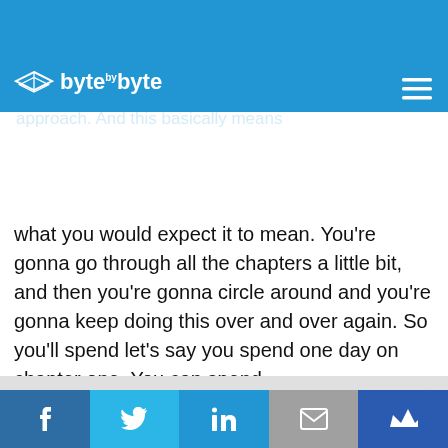byte by byte
You probably want to assign less time to the earlier chapters and then leave additional time for things like dynamic programming and recursion as you get later on. The other approach which I like is the breadth-first approach. And this basically means what you would expect it to mean. You're gonna go through all the chapters a little bit, and then you're gonna circle around and you're gonna keep doing this over and over again. So you'll spend let's say you spend one day on chapter one. You can spend
Get fully prepared for your Coding Interview and save 20% with Exponent. Learn More →